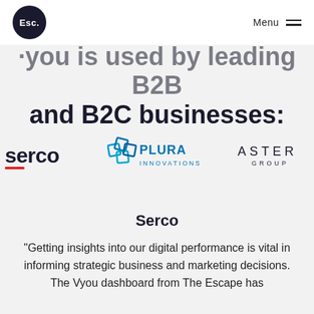Esc. Menu
·you is used by leading B2B and B2C businesses:
[Figure (logo): Three company logos: Serco (dark serif text with red underline), Plura Innovations (blue interconnected squares icon with teal/blue text), and Aster Group (spaced capital letters in dark text)]
Serco
"Getting insights into our digital performance is vital in informing strategic business and marketing decisions. The Vyou dashboard from The Escape has